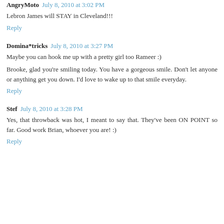AngryMoto July 8, 2010 at 3:02 PM
Lebron James will STAY in Cleveland!!!
Reply
Domina*tricks July 8, 2010 at 3:27 PM
Maybe you can hook me up with a pretty girl too Rameer :)
Brooke, glad you're smiling today. You have a gorgeous smile. Don't let anyone or anything get you down. I'd love to wake up to that smile everyday.
Reply
Stef July 8, 2010 at 3:28 PM
Yes, that throwback was hot, I meant to say that. They've been ON POINT so far. Good work Brian, whoever you are! :)
Reply